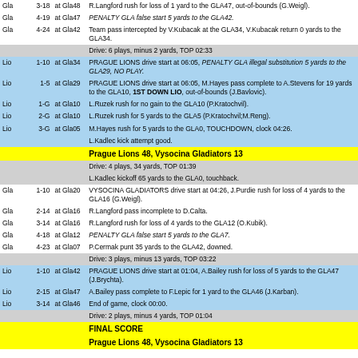| Team | Down | Pos | Description |
| --- | --- | --- | --- |
| Gla | 3-18 | at Gla48 | R.Langford rush for loss of 1 yard to the GLA47, out-of-bounds (G.Weigl). |
| Gla | 4-19 | at Gla47 | PENALTY GLA false start 5 yards to the GLA42. |
| Gla | 4-24 | at Gla42 | Team pass intercepted by V.Kubacak at the GLA34, V.Kubacak return 0 yards to the GLA34. |
|  |  |  | Drive: 6 plays, minus 2 yards, TOP 02:33 |
| Lio | 1-10 | at Gla34 | PRAGUE LIONS drive start at 06:05, PENALTY GLA illegal substitution 5 yards to the GLA29, NO PLAY. |
| Lio | 1-5 | at Gla29 | PRAGUE LIONS drive start at 06:05, M.Hayes pass complete to A.Stevens for 19 yards to the GLA10, 1ST DOWN LIO, out-of-bounds (J.Bavlovic). |
| Lio | 1-G | at Gla10 | L.Ruzek rush for no gain to the GLA10 (P.Kratochvil). |
| Lio | 2-G | at Gla10 | L.Ruzek rush for 5 yards to the GLA5 (P.Kratochvil;M.Reng). |
| Lio | 3-G | at Gla05 | M.Hayes rush for 5 yards to the GLA0, TOUCHDOWN, clock 04:26. |
|  |  |  | L.Kadlec kick attempt good. |
|  |  |  | Prague Lions 48, Vysocina Gladiators 13 |
|  |  |  | Drive: 4 plays, 34 yards, TOP 01:39 |
|  |  |  | L.Kadlec kickoff 65 yards to the GLA0, touchback. |
| Gla | 1-10 | at Gla20 | VYSOCINA GLADIATORS drive start at 04:26, J.Purdie rush for loss of 4 yards to the GLA16 (G.Weigl). |
| Gla | 2-14 | at Gla16 | R.Langford pass incomplete to D.Calta. |
| Gla | 3-14 | at Gla16 | R.Langford rush for loss of 4 yards to the GLA12 (O.Kubik). |
| Gla | 4-18 | at Gla12 | PENALTY GLA false start 5 yards to the GLA7. |
| Gla | 4-23 | at Gla07 | P.Cermak punt 35 yards to the GLA42, downed. |
|  |  |  | Drive: 3 plays, minus 13 yards, TOP 03:22 |
| Lio | 1-10 | at Gla42 | PRAGUE LIONS drive start at 01:04, A.Bailey rush for loss of 5 yards to the GLA47 (J.Brychta). |
| Lio | 2-15 | at Gla47 | A.Bailey pass complete to F.Lepic for 1 yard to the GLA46 (J.Karban). |
| Lio | 3-14 | at Gla46 | End of game, clock 00:00. |
|  |  |  | Drive: 2 plays, minus 4 yards, TOP 01:04 |
|  |  |  | FINAL SCORE |
|  |  |  | Prague Lions 48, Vysocina Gladiators 13 |